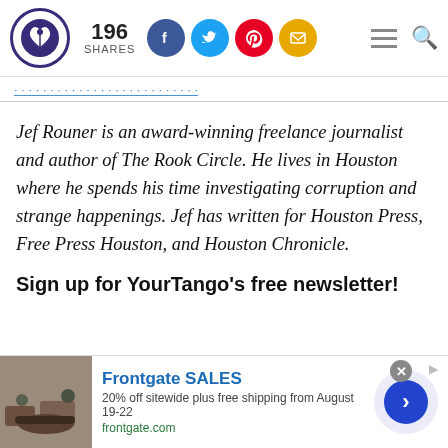196 SHARES [social share buttons: Facebook, Twitter, Pinterest, Email] [menu] [search]
People Make a Crazy, We Make Calm
Jef Rouner is an award-winning freelance journalist and author of The Rook Circle. He lives in Houston where he spends his time investigating corruption and strange happenings. Jef has written for Houston Press, Free Press Houston, and Houston Chronicle.
Sign up for YourTango's free newsletter!
[Figure (screenshot): Frontgate SALES advertisement: 20% off sitewide plus free shipping from August 19-22. frontgate.com. Shows outdoor furniture image and a blue arrow button.]